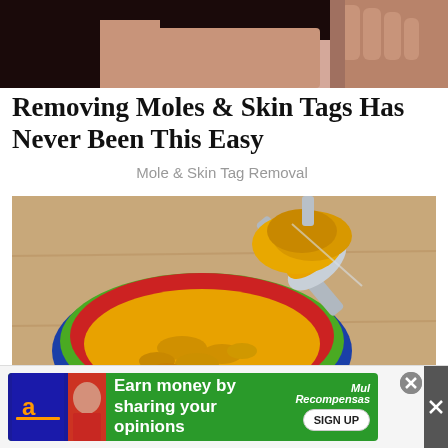[Figure (photo): Partial photo of a person (dark hair, skin tones visible), cropped at top of page]
Removing Moles & Skin Tags Has Never Been This Easy
Mole & Skin Tag Removal
[Figure (photo): Close-up photo of turmeric powder in a colorful blue/red/green ceramic bowl with a metal spoon scooping the bright yellow-orange powder]
[Figure (infographic): Advertisement bar: 'Earn money by sharing your opinions' with Amazon icon, green background, Mysurvey/Recompensas logo, and SIGN UP button]